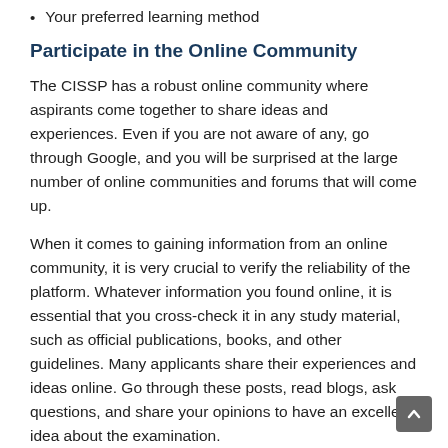Your preferred learning method
Participate in the Online Community
The CISSP has a robust online community where aspirants come together to share ideas and experiences. Even if you are not aware of any, go through Google, and you will be surprised at the large number of online communities and forums that will come up.
When it comes to gaining information from an online community, it is very crucial to verify the reliability of the platform. Whatever information you found online, it is essential that you cross-check it in any study material, such as official publications, books, and other guidelines. Many applicants share their experiences and ideas online. Go through these posts, read blogs, ask questions, and share your opinions to have an excellent idea about the examination.